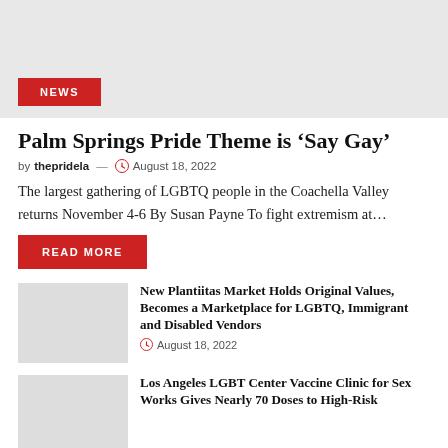[Figure (photo): Gray hero image placeholder with a red NEWS badge in bottom-left corner]
Palm Springs Pride Theme is ‘Say Gay’
by thepridela — August 18, 2022
The largest gathering of LGBTQ people in the Coachella Valley returns November 4-6 By Susan Payne To fight extremism at…
READ MORE
New Plantiitas Market Holds Original Values, Becomes a Marketplace for LGBTQ, Immigrant and Disabled Vendors
August 18, 2022
Los Angeles LGBT Center Vaccine Clinic for Sex Works Gives Nearly 70 Doses to High-Risk